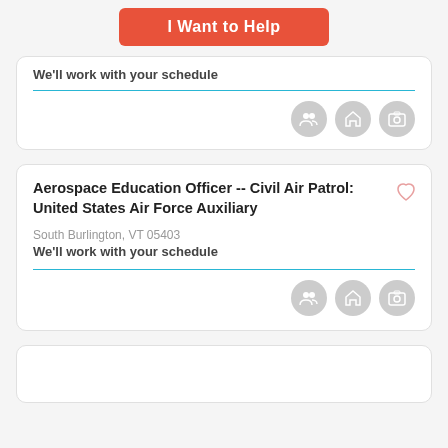I Want to Help
We'll work with your schedule
Aerospace Education Officer -- Civil Air Patrol: United States Air Force Auxiliary
South Burlington, VT 05403
We'll work with your schedule